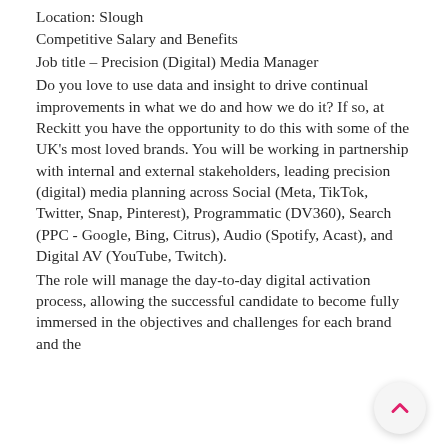Location: Slough
Competitive Salary and Benefits
Job title – Precision (Digital) Media Manager
Do you love to use data and insight to drive continual improvements in what we do and how we do it? If so, at Reckitt you have the opportunity to do this with some of the UK's most loved brands. You will be working in partnership with internal and external stakeholders, leading precision (digital) media planning across Social (Meta, TikTok, Twitter, Snap, Pinterest), Programmatic (DV360), Search (PPC - Google, Bing, Citrus), Audio (Spotify, Acast), and Digital AV (YouTube, Twitch).
The role will manage the day-to-day digital activation process, allowing the successful candidate to become fully immersed in the objectives and challenges for each brand and the